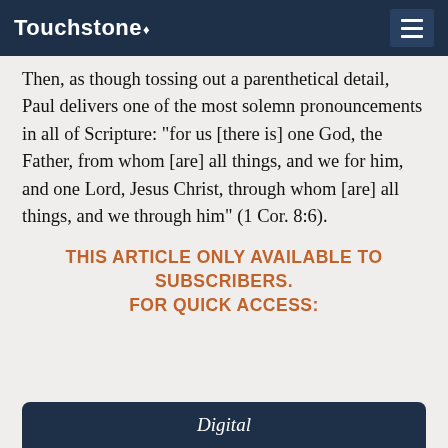Touchstone
Then, as though tossing out a parenthetical detail, Paul delivers one of the most solemn pronouncements in all of Scripture: "for us [there is] one God, the Father, from whom [are] all things, and we for him, and one Lord, Jesus Christ, through whom [are] all things, and we through him" (1 Cor. 8:6).
THIS ARTICLE ONLY AVAILABLE TO SUBSCRIBERS.
FOR QUICK ACCESS:
Digital